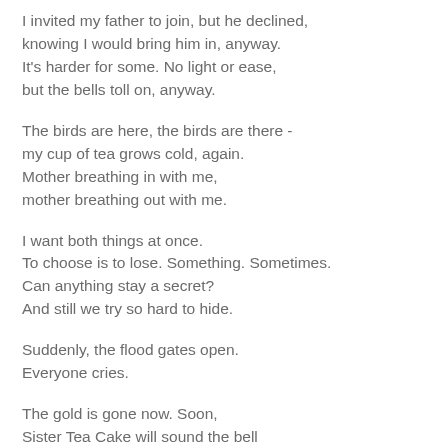I invited my father to join, but he declined,
knowing I would bring him in, anyway.
It's harder for some. No light or ease,
but the bells toll on, anyway.
The birds are here, the birds are there -
my cup of tea grows cold, again.
Mother breathing in with me,
mother breathing out with me.
I want both things at once.
To choose is to lose. Something. Sometimes.
Can anything stay a secret?
And still we try so hard to hide.
Suddenly, the flood gates open.
Everyone cries.
The gold is gone now. Soon,
Sister Tea Cake will sound the bell
for final goodbyes. Everyone cries.
Sometimes.